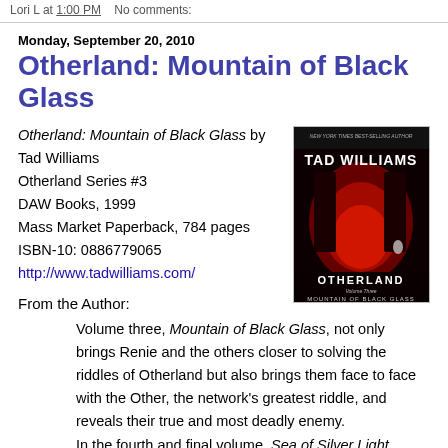Lori L at 1:00 PM   No comments:
Monday, September 20, 2010
Otherland: Mountain of Black Glass
Otherland: Mountain of Black Glass by Tad Williams
Otherland Series #3
DAW Books, 1999
Mass Market Paperback, 784 pages
ISBN-10: 0886779065
http://www.tadwilliams.com/
[Figure (photo): Book cover of Otherland: Mountain of Black Glass by Tad Williams (DAW Books). Dark cover with red imagery, showing the author name TAD WILLIAMS at the top and OTHERLAND / Volume Three / MOUNTAIN OF BLACK GLASS at the bottom.]
From the Author:
Volume three, Mountain of Black Glass, not only brings Renie and the others closer to solving the riddles of Otherland but also brings them face to face with the Other, the network's greatest riddle, and reveals their true and most deadly enemy. In the fourth and final volume, Sea of Silver Light,